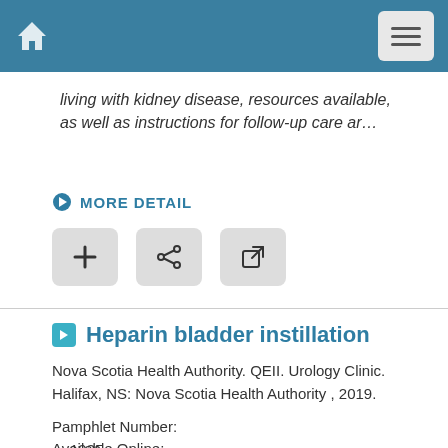Home | Menu
living with kidney disease, resources available, as well as instructions for follow-up care ar…
MORE DETAIL
[Figure (screenshot): Three action buttons: add (+), share (<), and external link icons]
Heparin bladder instillation
Nova Scotia Health Authority. QEII. Urology Clinic. Halifax, NS: Nova Scotia Health Authority , 2019.
Pamphlet Number:
  1935
Available Online: